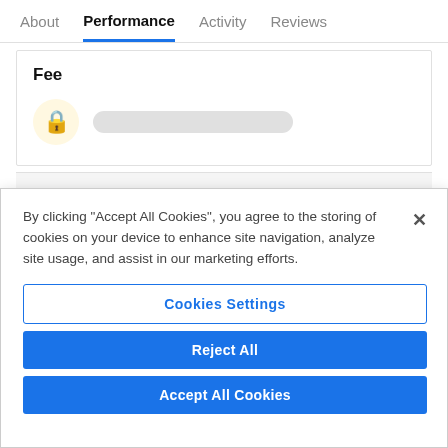About  Performance  Activity  Reviews
Fee
[Figure (screenshot): Lock icon in a yellow circle next to a grey blurred bar, indicating locked/hidden fee information]
By clicking “Accept All Cookies”, you agree to the storing of cookies on your device to enhance site navigation, analyze site usage, and assist in our marketing efforts.
Cookies Settings
Reject All
Accept All Cookies